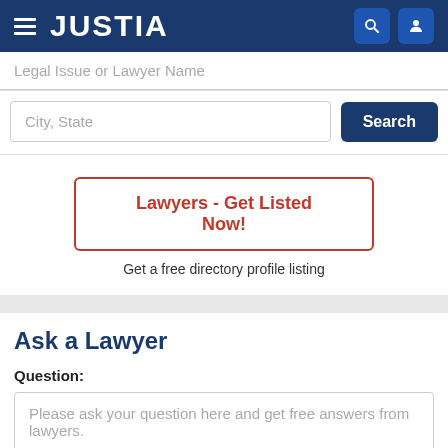[Figure (screenshot): Justia website header with hamburger menu, JUSTIA logo in white on dark blue background, search and user icons]
Legal Issue or Lawyer Name
City, State
Search
Lawyers - Get Listed Now!
Get a free directory profile listing
Ask a Lawyer
Question:
Please ask your question here and get free answers from lawyers.